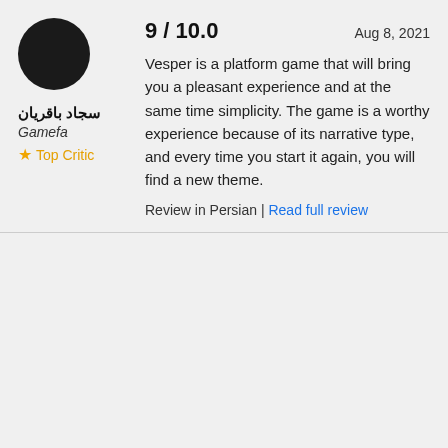[Figure (photo): Circular dark avatar/profile picture placeholder]
سجاد باقریان
Gamefa
Top Critic
9 / 10.0
Aug 8, 2021
Vesper is a platform game that will bring you a pleasant experience and at the same time simplicity. The game is a worthy experience because of its narrative type, and every time you start it again, you will find a new theme.
Review in Persian | Read full review